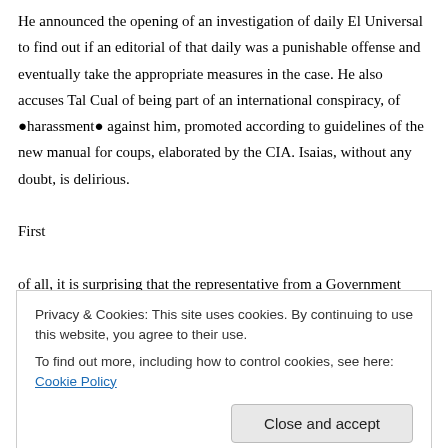He announced the opening of an investigation of daily El Universal to find out if an editorial of that daily was a punishable offense and eventually take the appropriate measures in the case. He also accuses Tal Cual of being part of an international conspiracy, of ●harassment● against him, promoted according to guidelines of the new manual for coups, elaborated by the CIA. Isaias, without any doubt, is delirious.
First of all, it is surprising that the representative from a Government characterized by its intromissions, whose President frequently gives opinions about internal matters of other countries, without hiding its
Privacy & Cookies: This site uses cookies. By continuing to use this website, you agree to their use.
To find out more, including how to control cookies, see here: Cookie Policy
would demand anything.